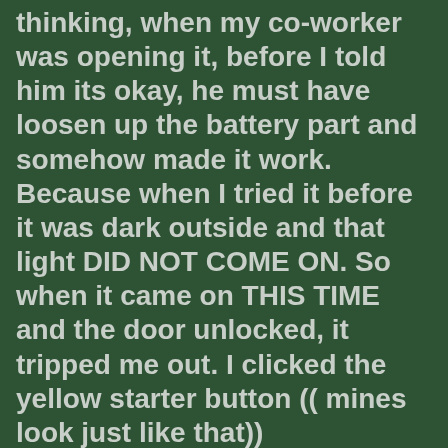thinking, when my co-worker was opening it, before I told him its okay, he must have loosen up the battery part and somehow made it work. Because when I tried it before it was dark outside and that light DID NOT COME ON. So when it came on THIS TIME and the door unlocked, it tripped me out. I clicked the yellow starter button (( mines look just like that)) [broken image: Image result for remote starters] once for a few seconds, then a second time... IT CAME ON!!!!! LOL LOL LOL MY CAR STARTED. LOL LOL I COULDN'T BELIEVE IT!!!! I KEPT TAPPING MYSELF BECAUSE IT DIDN'T SEEM LIKE THIS WAS HAPPENING. GOD